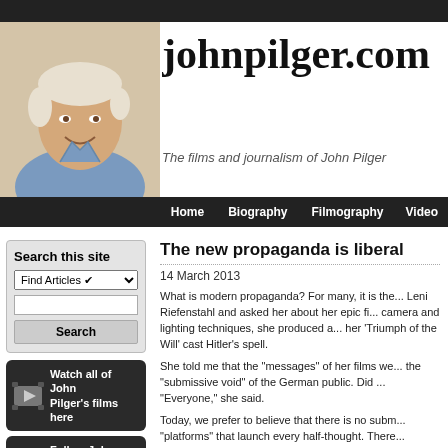[Figure (photo): Photo of John Pilger, a man with white/light hair smiling, wearing a blue shirt, against a light background]
johnpilger.com
The films and journalism of John Pilger
Home   Biography   Filmography   Video
Search this site
Find Articles  [dropdown]  [search input]  Search
[Figure (other): Dark widget: Watch all of John Pilger's films here with camera icon]
[Figure (other): Dark widget: Follow John Pilger on Twitter with Twitter bird icon]
The new propaganda is liberal
14 March 2013
What is modern propaganda? For many, it is the... Leni Riefenstahl and asked her about her epic fi... camera and lighting techniques, she produced a... her 'Triumph of the Will' cast Hitler's spell.
She told me that the "messages" of her films we... the "submissive void" of the German public. Did ... "Everyone," she said.
Today, we prefer to believe that there is no subm... "platforms" that launch every half-thought. There... Caressed like rosary beads, the precious device... and prioritised. Their dominant theme is the self... today's digital slavery.